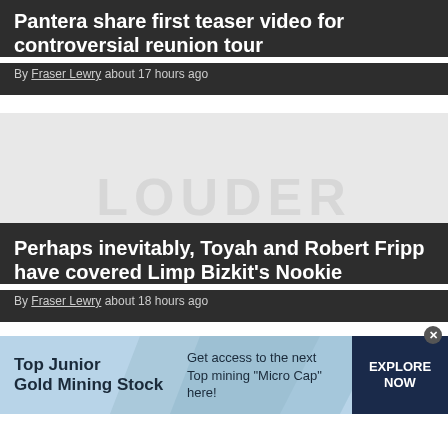Pantera share first teaser video for controversial reunion tour
By Fraser Lewry about 17 hours ago
[Figure (screenshot): Gray placeholder image with faded 'LOUDER' text watermark]
Perhaps inevitably, Toyah and Robert Fripp have covered Limp Bizkit's Nookie
By Fraser Lewry about 18 hours ago
[Figure (infographic): Advertisement banner: Top Junior Gold Mining Stock. Get access to the next Top mining 'Micro Cap' here! EXPLORE NOW]